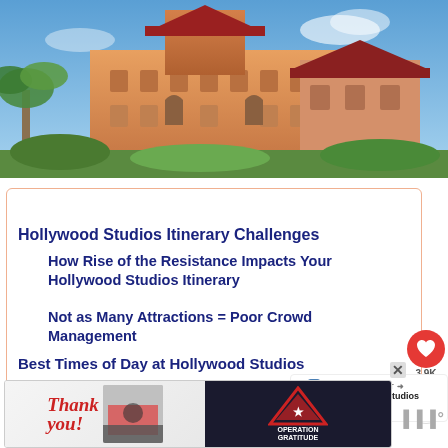[Figure (photo): Photo of Hollywood Studios Tower of Terror building with palm trees and blue sky]
Table of Contents
Hollywood Studios Itinerary Challenges
How Rise of the Resistance Impacts Your Hollywood Studios Itinerary
Not as Many Attractions = Poor Crowd Management
Best Times of Day at Hollywood Studios
How many days do you need for Hollywood Studios?
[Figure (infographic): WHAT'S NEXT arrow with thumbnail image and text: Hollywood Studios Rop...]
[Figure (photo): Advertisement banner: Thank you with Operation Gratitude logo]